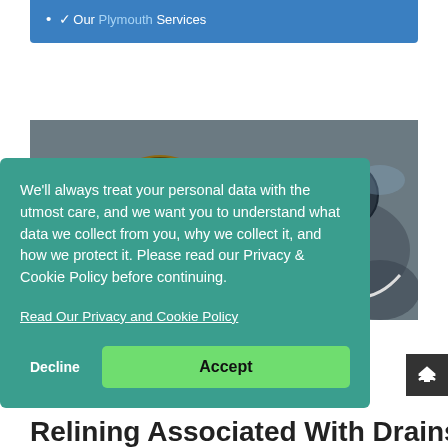✓ Our Plymouth Services
[Figure (photo): Person working near a drain manhole cover on a road surface, viewed from above]
We'll always treat your personal data with the utmost care, and we want you to understand what data we collect from you, why we collect it, and how we protect it. Please read our Privacy & Cookie Policy before continuing.
Read Our Privacy and Cookie Policy
Decline
Accept
Relining Associated With Drains